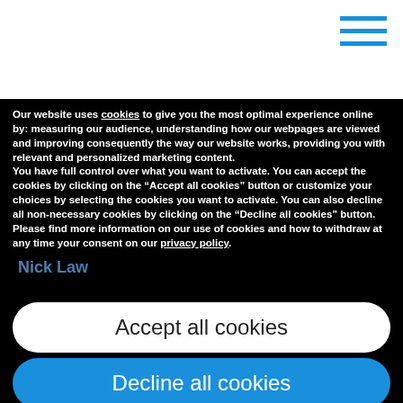Our website uses cookies to give you the most optimal experience online by: measuring our audience, understanding how our webpages are viewed and improving consequently the way our website works, providing you with relevant and personalized marketing content.
You have full control over what you want to activate. You can accept the cookies by clicking on the “Accept all cookies” button or customize your choices by selecting the cookies you want to activate. You can also decline all non-necessary cookies by clicking on the “Decline all cookies” button. Please find more information on our use of cookies and how to withdraw at any time your consent on our privacy policy.
Nick Law
Accept all cookies
Decline all cookies
Customize
Privacy policy